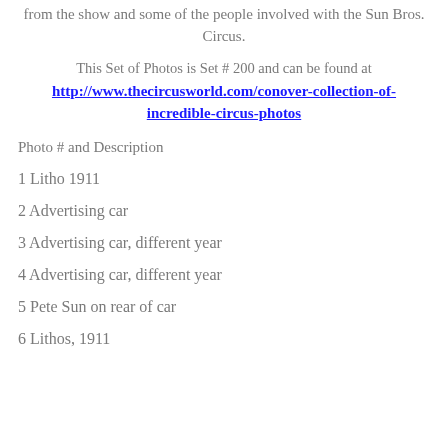from the show and some of the people involved with the Sun Bros. Circus.
This Set of Photos is Set # 200 and can be found at http://www.thecircusworld.com/conover-collection-of-incredible-circus-photos
Photo # and Description
1 Litho 1911
2 Advertising car
3 Advertising car, different year
4 Advertising car, different year
5 Pete Sun on rear of car
6 Lithos, 1911